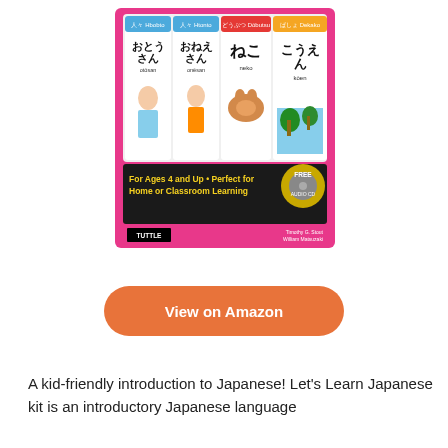[Figure (photo): Book cover of 'Let's Learn Japanese' kit by Timothy G. Stout and William Matsuzaki, published by Tuttle. Shows flashcards with Japanese characters and illustrations of father (おとうさん/otōsan), older sister (おねえさん/onēsan), cat (ねこ/neko), and park (こうえん/kōen). Pink background with black banner reading 'For Ages 4 and Up • Perfect for Home or Classroom Learning' in yellow text, and a gold 'FREE AUDIO CD' badge.]
View on Amazon
A kid-friendly introduction to Japanese! Let's Learn Japanese kit is an introductory Japanese language